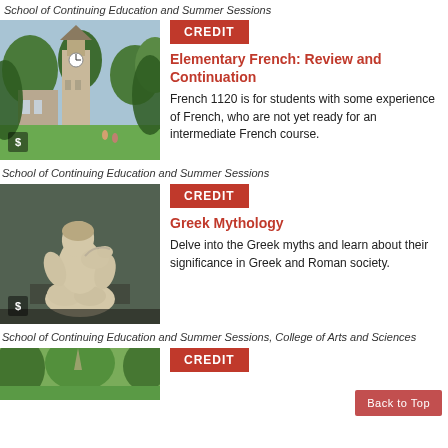School of Continuing Education and Summer Sessions
[Figure (photo): Cornell University clock tower and campus green with trees]
CREDIT
Elementary French: Review and Continuation
French 1120 is for students with some experience of French, who are not yet ready for an intermediate French course.
School of Continuing Education and Summer Sessions
[Figure (photo): Classical marble sculpture of a figure with a bird]
CREDIT
Greek Mythology
Delve into the Greek myths and learn about their significance in Greek and Roman society.
School of Continuing Education and Summer Sessions, College of Arts and Sciences
[Figure (photo): Outdoor campus scene with trees]
CREDIT
Back to Top